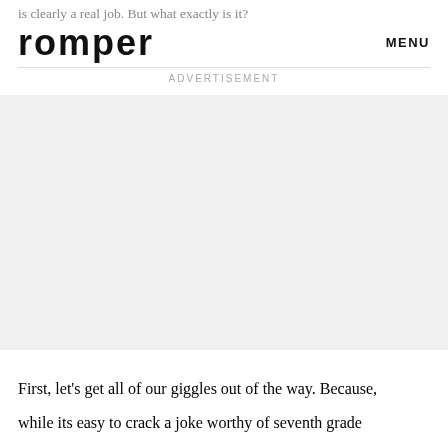is clearly a real job. But what exactly is it?
romper
MENU
ADVERTISEMENT
[Figure (other): Advertisement placeholder block with light gray background]
First, let's get all of our giggles out of the way. Because, while its easy to crack a joke worthy of seventh grade